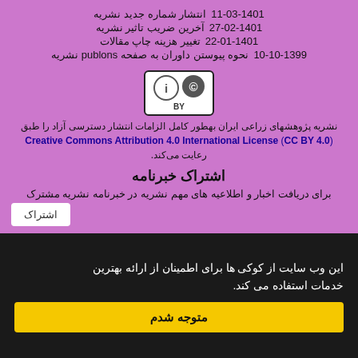انتشار شماره جدید نشریه 1401-03-11
آخرین ضریب تاثیر نشریه 1401-02-27
تغییر هزینه چاپ مقالات 1401-01-22
نحوه پیوستن داوران به صفحه publons نشریه 1399-10-10
[Figure (logo): Creative Commons CC BY logo]
نشریه پژوهشهای زراعی ایران بهطور کامل الزامات انتشار دسترسی آزاد را طبق Creative Commons Attribution 4.0 International License (CC BY 4.0) رعایت می‌کند.
اشتراک خبرنامه
برای دریافت اخبار و اطلاعیه های مهم نشریه در خبرنامه نشریه مشترک
این وب سایت از کوکی ها برای اطمینان از ارائه بهترین خدمات استفاده می کند.
متوجه شدم
سامانه مدیریت نشریات علمی. قدرت گرفته از سیستوب